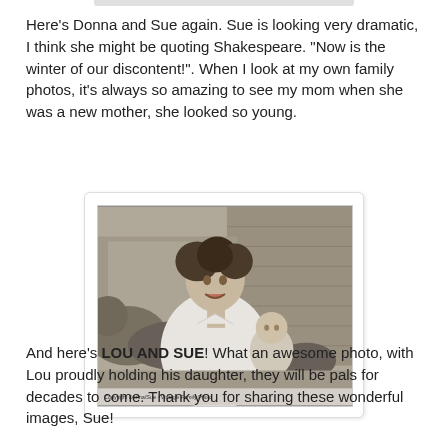Here's Donna and Sue again. Sue is looking very dramatic, I think she might be quoting Shakespeare. "Now is the winter of our discontent!". When I look at my own family photos, it's always so amazing to see my mom when she was a new mother, she looked so young.
[Figure (photo): Black and white vintage photograph of a young woman holding a baby, standing outdoors near a fence with foliage in the background. A small caption/watermark is visible at the bottom of the photo.]
And here's LOU AND SUE! What an awesome photo, with Lou proudly holding his daughter, they will be pals for decades to come. Thank you for sharing these wonderful images, Sue!